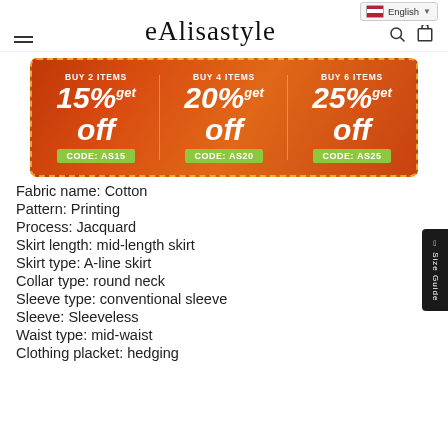eAlisastyle — English lang selector, hamburger menu, search, cart icons
[Figure (infographic): Promotional banner on orange/red gradient background with three discount offers: BUY 2 ITEMS 15% off CODE: AS15, BUY 4 ITEMS 20% off CODE: AS20, BUY 6 ITEMS 25% off CODE: AS25]
Fabric name: Cotton
Pattern: Printing
Process: Jacquard
Skirt length: mid-length skirt
Skirt type: A-line skirt
Collar type: round neck
Sleeve type: conventional sleeve
Sleeve: Sleeveless
Waist type: mid-waist
Clothing placket: hedging